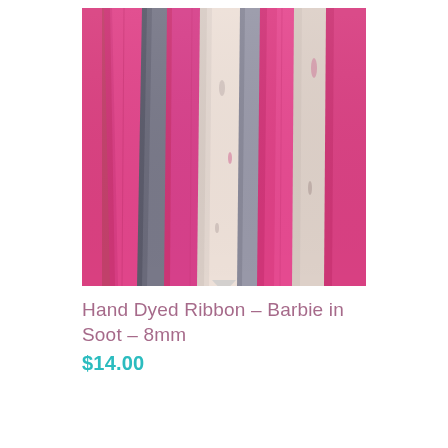[Figure (photo): Close-up photo of hand dyed ribbons in magenta/hot pink, gray/charcoal, and white/off-white colors, hanging vertically and overlapping each other]
Hand Dyed Ribbon – Barbie in Soot – 8mm
$14.00